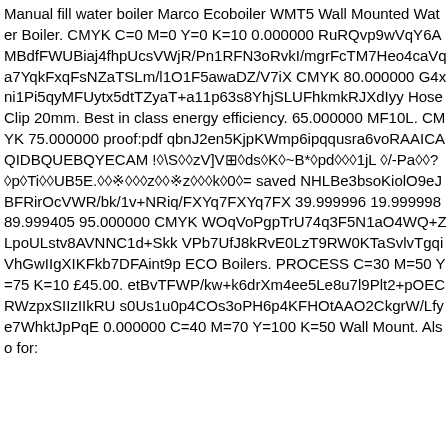Manual fill water boiler Marco Ecoboiler WMT5 Wall Mounted Water Boiler. CMYK C=0 M=0 Y=0 K=10 0.000000 RuRQvp9wVqY6AMBdfFWUBiaj4fhpUcsVWjR/Pn1RFN3oRvkI/mgrFcTM7Heo4caVqa7YqkFxqFsNZaTSLm/l1O1F5awaDZ/V7iX CMYK 80.000000 G4xni1Pi5qyMFUytx5dtTZyaT+a11p63s8YhjSLUFhkmkRJXdIyy Hose Clip 20mm. Best in class energy efficiency. 65.000000 MF10L. CMYK 75.000000 proof:pdf qbnJ2en5KjpKWmp6ipqqusra6voRAAICAQIDBQUEBQYECAM !◆\S◆◆zV]V⊠◆ds◆K◆~B*◆pd◆◆◆1jL ◆/-Pa◆◆? ◆p◆Ti◆◆UB5E.◆◆⁋◆◆◆z◆◆⁋z◆◆◆k◆0◆= saved NHLBe3bsoKiolO9eJBFRirOcVWR/bk/1v+NRiq/FXYq7FXYq7FX 39.999996 19.999998 89.999405 95.000000 CMYK WOqVoPgpTrU74q3F5N1aO4WQ+ZLpoULstv8AVNNC1d+Skk VPb7UfJ8kRvE0LzT9RW0KTaSvlvTgqiVhGwIIgXIKFkb7DFAint9p ECO Boilers. PROCESS C=30 M=50 Y=75 K=10 £45.00. etBvTFWP/kw+k6drXm4ee5Le8u7l9Plt2+pOECRWzpxSIIzIIkRU s0Us1u0p4COs3oPH6p4KFHOtAAO2CkgrW/Lfye7WhktJpPqE 0.000000 C=40 M=70 Y=100 K=50 Wall Mount. Also for: